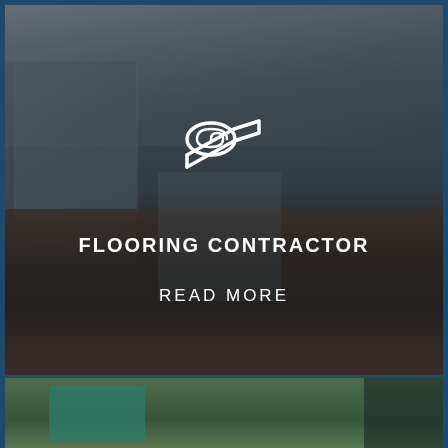[Figure (photo): Interior room photo showing a spacious living room with hardwood floors, coffered ceiling, large windows, and fireplace, with a semi-transparent dark overlay. A white carpet/flooring roll icon is centered over the image.]
FLOORING CONTRACTOR
READ MORE
[Figure (photo): Partial outdoor photo showing a person wearing a teal jacket sleeve on the left side and dark clothing on the right, with green grass and yellow flowers in the background.]